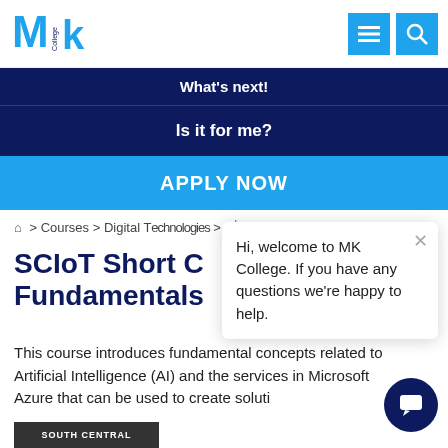MK College logo with navigation menu and search icons
What's next!
Is it for me?
APPLY NOW
Home > Courses > Digital Technologies > MK ... Fundamentals
SCIoT Short Course: AI Fundamentals
This course introduces fundamental concepts related to Artificial Intelligence (AI) and the services in Microsoft Azure that can be used to create solutions
Hi, welcome to MK College. If you have any questions we're happy to help.
SOUTH CENTRAL